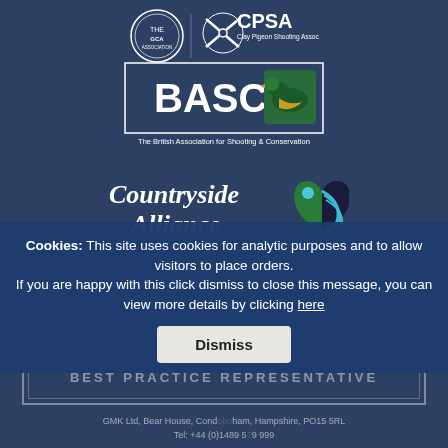[Figure (logo): GCA circular logo and CPSA (Clay Pigeon Shooting Association) logo side by side at top]
[Figure (logo): BASC - The British Association for Shooting & Conservation logo in a bordered box]
[Figure (logo): Countryside Alliance logo with decorative bird icon]
[Figure (illustration): Bordered decorative box with italic watermark text and BEST PRACTICE REPRESENTATIVE text]
Cookies: This site uses cookies for analytic purposes and to allow visitors to place orders. If you are happy with this click dismiss to close this message, you can view more details by clicking here
Dismiss
GMK Ltd, Bear House, Condobolin ham, Hampshire, PO15 5RL Tel: +44 (0)1489 579 999